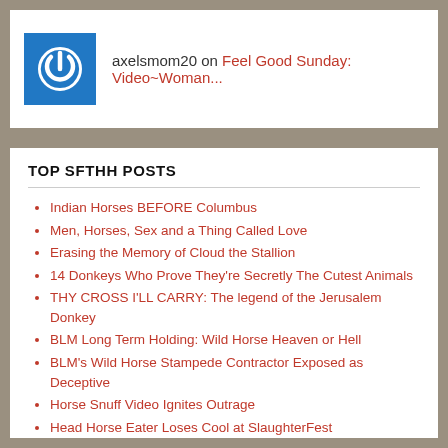axelsmom20 on Feel Good Sunday: Video~Woman...
TOP SFTHH POSTS
Indian Horses BEFORE Columbus
Men, Horses, Sex and a Thing Called Love
Erasing the Memory of Cloud the Stallion
14 Donkeys Who Prove They're Secretly The Cutest Animals
THY CROSS I'LL CARRY: The legend of the Jerusalem Donkey
BLM Long Term Holding: Wild Horse Heaven or Hell
BLM's Wild Horse Stampede Contractor Exposed as Deceptive
Horse Snuff Video Ignites Outrage
Head Horse Eater Loses Cool at SlaughterFest
Livestream link to BLM's National Wild Horse & Burro Advisory Board meeting, Oct. 9-11